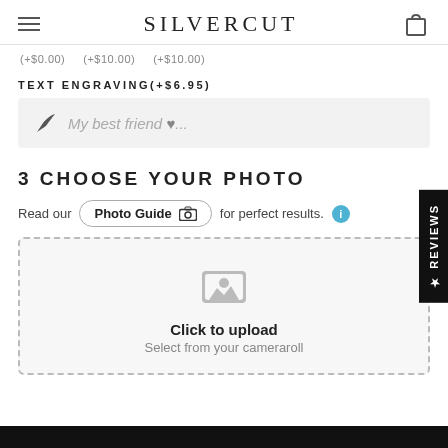SILVERCUT
(+$0.00)   (+$10.00)   (+$10.00)
TEXT ENGRAVING(+$6.95)
My best friend ♥...
3 CHOOSE YOUR PHOTO
Read our Photo Guide for perfect results.
[Figure (screenshot): Upload area with image icon, 'Click to upload' text, and 'Select from your cameraroll' subtext]
REVIEWS